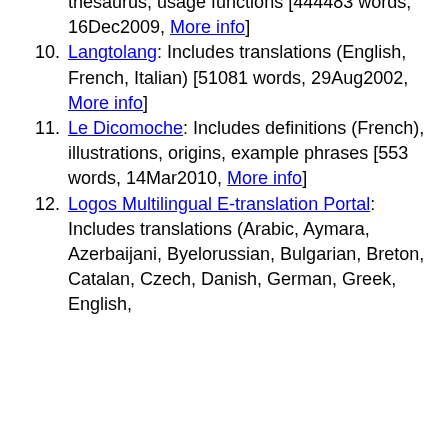thesaurus, usage functions [444483 words, 16Dec2009, More info]
10. Langtolang: Includes translations (English, French, Italian) [51081 words, 29Aug2002, More info]
11. Le Dicomoche: Includes definitions (French), illustrations, origins, example phrases [553 words, 14Mar2010, More info]
12. Logos Multilingual E-translation Portal: Includes translations (Arabic, Aymara, Azerbaijani, Byelorussian, Bulgarian, Breton, Catalan, Czech, Danish, German, Greek, English,